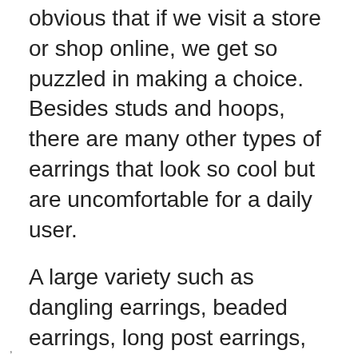obvious that if we visit a store or shop online, we get so puzzled in making a choice. Besides studs and hoops, there are many other types of earrings that look so cool but are uncomfortable for a daily user.
A large variety such as dangling earrings, beaded earrings, long post earrings, and differently shaped earrings are available in the market. But a wise girl will think about her ears first not about the temporary attraction.
Pros and Cons of Sleeper Earrings